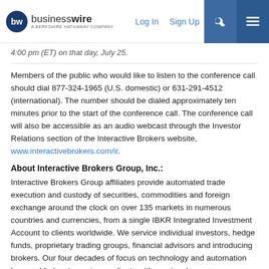businesswire — A BERKSHIRE HATHAWAY COMPANY | Log In | Sign Up
4:00 pm (ET) on that day, July 25.
Members of the public who would like to listen to the conference call should dial 877-324-1965 (U.S. domestic) or 631-291-4512 (international). The number should be dialed approximately ten minutes prior to the start of the conference call. The conference call will also be accessible as an audio webcast through the Investor Relations section of the Interactive Brokers website, www.interactivebrokers.com/ir.
About Interactive Brokers Group, Inc.:
Interactive Brokers Group affiliates provide automated trade execution and custody of securities, commodities and foreign exchange around the clock on over 135 markets in numerous countries and currencies, from a single IBKR Integrated Investment Account to clients worldwide. We service individual investors, hedge funds, proprietary trading groups, financial advisors and introducing brokers. Our four decades of focus on technology and automation has enabled us to equip our clients with a uniquely